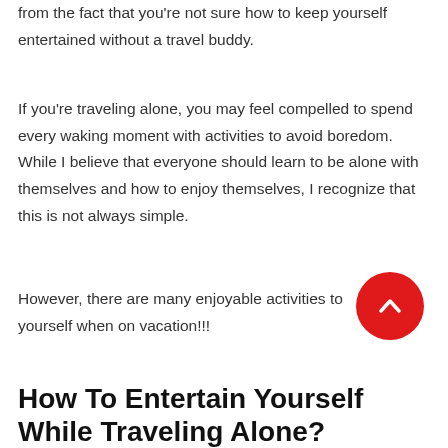from the fact that you're not sure how to keep yourself entertained without a travel buddy.
If you're traveling alone, you may feel compelled to spend every waking moment with activities to avoid boredom. While I believe that everyone should learn to be alone with themselves and how to enjoy themselves, I recognize that this is not always simple.
However, there are many enjoyable activities to do by yourself when on vacation!!!
How To Entertain Yourself While Traveling Alone?